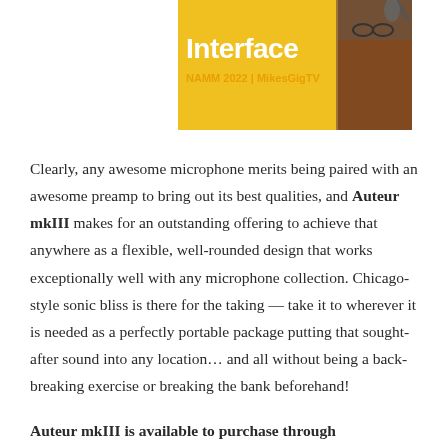[Figure (screenshot): A video thumbnail showing text 'Interface' in bold yellow/white letters on a yellow background, with 'NAMM 2022 | MikesGigTV' subtitle, and a person wearing a patterned shirt on the right side]
Clearly, any awesome microphone merits being paired with an awesome preamp to bring out its best qualities, and Auteur mkIII makes for an outstanding offering to achieve that anywhere as a flexible, well-rounded design that works exceptionally well with any microphone collection. Chicago-style sonic bliss is there for the taking — take it to wherever it is needed as a perfectly portable package putting that sought-after sound into any location… and all without being a back-breaking exercise or breaking the bank beforehand!
Auteur mkIII is available to purchase through